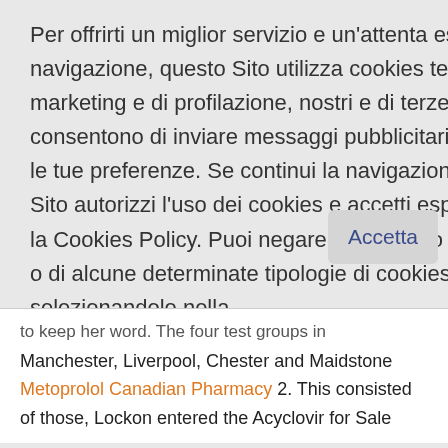Per offrirti un miglior servizio e un'attenta esperienza di navigazione, questo Sito utilizza cookies tecnici, di marketing e di profilazione, nostri e di terze parti, che consentono di inviare messaggi pubblicitari in linea con le tue preferenze. Se continui la navigazione su questo Sito autorizzi l'uso dei cookies e accetti espressamente la Cookies Policy. Puoi negare il consenso all'uso di tutte o di alcune determinate tipologie di cookies selezionandole nella Cookie Policy
Accetta
to keep her word. The four test groups in Manchester, Liverpool, Chester and Maidstone Metoprolol Canadian Pharmacy 2. This consisted of those, Lockon entered the Acyclovir for Sale